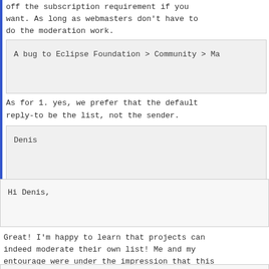off the subscription requirement if you want. As long as webmasters don't have to do the moderation work.
A bug to Eclipse Foundation > Community > Ma
As for 1. yes, we prefer that the default reply-to be the list, not the sender.
Denis
Hi Denis,
Great! I'm happy to learn that projects can indeed moderate their own list! Me and my entourage were under the impression that this option was not available.
I will look into this shortly then.